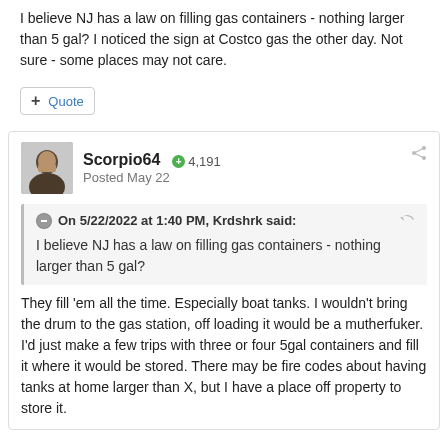I believe NJ has a law on filling gas containers - nothing larger than 5 gal?  I noticed the sign at Costco gas the other day.  Not sure - some places may not care.
+ Quote
Scorpio64  4,191
Posted May 22
On 5/22/2022 at 1:40 PM, Krdshrk said:
I believe NJ has a law on filling gas containers - nothing larger than 5 gal?
They fill 'em all the time.  Especially boat tanks.  I wouldn't bring the drum to the gas station, off loading it would be a mutherfuker.  I'd just make a few trips with three or four 5gal containers and fill it where it would be stored.  There may be fire codes about having tanks at home larger than X, but I have a place off property to store it.